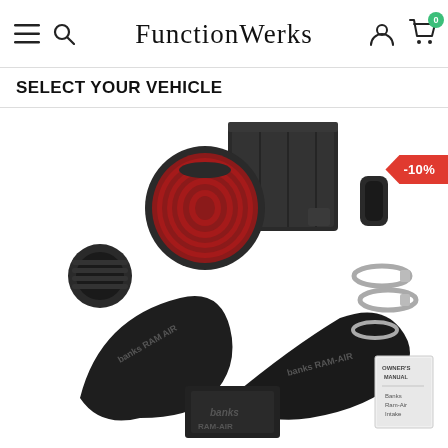FunctionWerks
SELECT YOUR VEHICLE
[Figure (photo): Banks Ram-Air intake kit product photo showing black intake pipes with 'Banks Ram-Air' branding, a red conical air filter, black airbox housing, rubber coupler, metal clamps, and an owner's manual booklet, all laid out on a white background. A red discount badge showing -10% is visible in the upper right.]